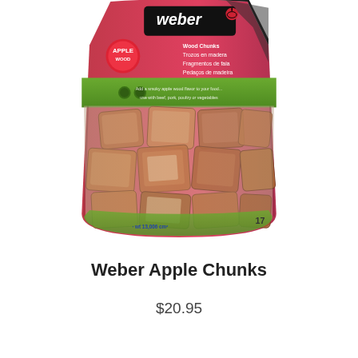[Figure (photo): Weber Apple Chunks wood chunks product bag — a plastic bag with pink/red and green branding at the top showing the Weber logo, with visible wood chunks inside the clear lower portion of the bag.]
Weber Apple Chunks
$20.95